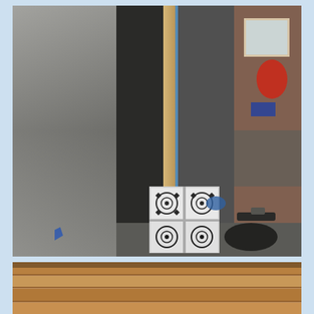[Figure (photo): Construction/renovation photo showing a doorway with wooden door frame and blue painter's tape, a partially tiled floor threshold with decorative black and white patterned cement tiles, grey plastered walls, concrete floor with construction debris including a hammer and black cloth, and a background room with a window and red and blue items visible.]
[Figure (photo): Partial view of a second construction photo showing wooden paneling or cabinetry in brown/tan tones, partially cut off at the bottom of the page.]